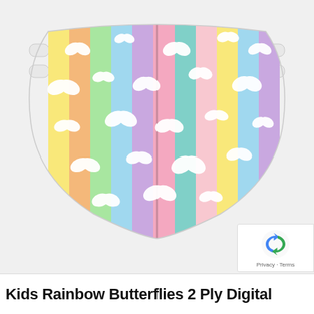[Figure (photo): A kids face mask with rainbow vertical stripes (pastel colors: yellow, orange, green, blue, purple, pink, teal, light pink) and white butterfly silhouettes scattered all over. The mask has white ear straps on both sides.]
[Figure (logo): reCAPTCHA badge with blue/grey arrow icon and 'Privacy - Terms' text]
Kids Rainbow Butterflies 2 Ply Digital